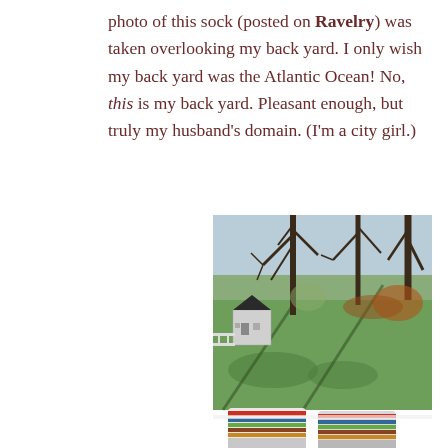photo of this sock (posted on Ravelry) was taken overlooking my back yard.  I only wish my back yard was the Atlantic Ocean!  No, this is my back yard.  Pleasant enough, but truly my husband's domain.  (I'm a city girl.)
[Figure (photo): A backyard scene photographed from an elevated position showing a green lawn with bare deciduous trees casting long shadows, a small white outbuilding or shed with a dark roof in the background, and two colorful knitted socks visible at the bottom of the frame resting on a white surface.]